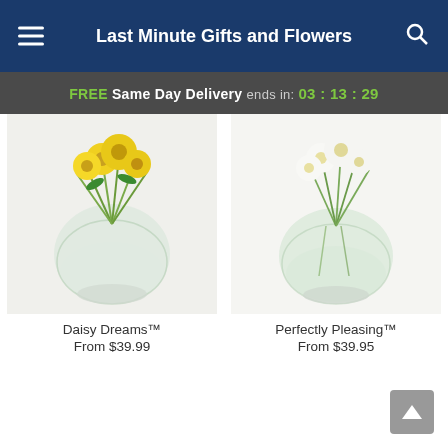Last Minute Gifts and Flowers
FREE Same Day Delivery ends in: 03 : 13 : 29
[Figure (photo): Yellow daisy flowers in a round clear glass vase]
Daisy Dreams™
From $39.99
[Figure (photo): White flowers in a round clear glass vase]
Perfectly Pleasing™
From $39.95